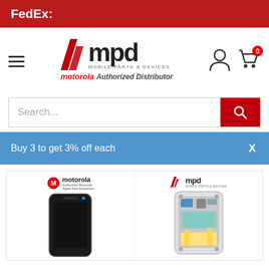FedEx:
[Figure (logo): MPD Mobile Parts & Devices logo with motorola Authorized Distributor tagline, hamburger menu, user icon, and cart icon with badge 0]
Search...
Buy 3 to get 3% off each   X
[Figure (photo): Product image showing two views of a Motorola phone part: front (screen/display) and back (circuit board/internals), with Motorola Authorized Spare Part Distributor and MPD Mobile Parts & Devices logos]